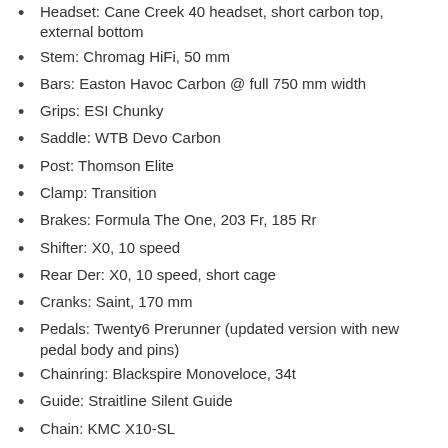Headset: Cane Creek 40 headset, short carbon top, external bottom
Stem: Chromag HiFi, 50 mm
Bars: Easton Havoc Carbon @ full 750 mm width
Grips: ESI Chunky
Saddle: WTB Devo Carbon
Post: Thomson Elite
Clamp: Transition
Brakes: Formula The One, 203 Fr, 185 Rr
Shifter: X0, 10 speed
Rear Der: X0, 10 speed, short cage
Cranks: Saint, 170 mm
Pedals: Twenty6 Prerunner (updated version with new pedal body and pins)
Chainring: Blackspire Monoveloce, 34t
Guide: Straitline Silent Guide
Chain: KMC X10-SL
Cassette: SRAM RED 11-28